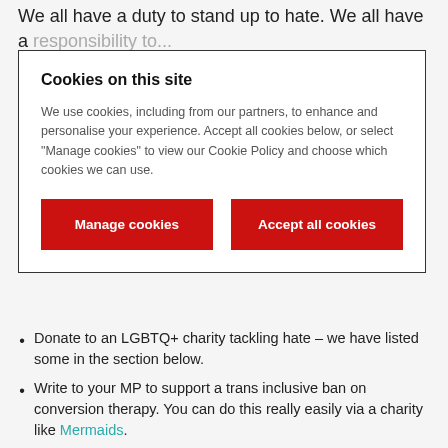We all have a duty to stand up to hate. We all have a responsibility to...
Cookies on this site
We use cookies, including from our partners, to enhance and personalise your experience. Accept all cookies below, or select "Manage cookies" to view our Cookie Policy and choose which cookies we can use.
[Figure (screenshot): Two red buttons: 'Manage cookies' and 'Accept all cookies']
Donate to an LGBTQ+ charity tackling hate – we have listed some in the section below.
Write to your MP to support a trans inclusive ban on conversion therapy. You can do this really easily via a charity like Mermaids.
Volunteer with an LGBTQ+ charity or event or help fundraise for them.
Report hate crime via the independent charity